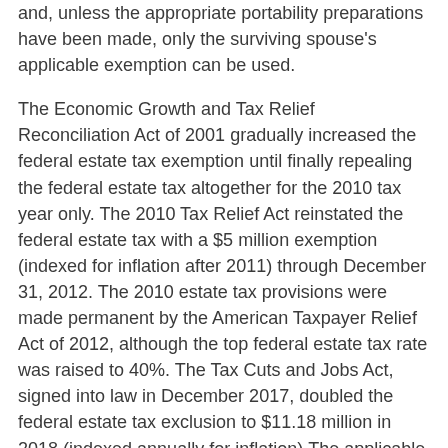and, unless the appropriate portability preparations have been made, only the surviving spouse's applicable exemption can be used.
The Economic Growth and Tax Relief Reconciliation Act of 2001 gradually increased the federal estate tax exemption until finally repealing the federal estate tax altogether for the 2010 tax year only. The 2010 Tax Relief Act reinstated the federal estate tax with a $5 million exemption (indexed for inflation after 2011) through December 31, 2012. The 2010 estate tax provisions were made permanent by the American Taxpayer Relief Act of 2012, although the top federal estate tax rate was raised to 40%. The Tax Cuts and Jobs Act, signed into law in December 2017, doubled the federal estate tax exclusion to $11.18 million in 2018 (indexed annually for inflation).The applicable exemption amount in 2022 is $12.06 million. In 2026, the exclusion is scheduled to revert to its pre-2018 level and be cut by about one-half.